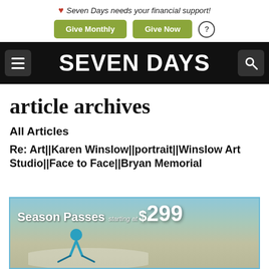❤ Seven Days needs your financial support! [Give Monthly] [Give Now] [?]
SEVEN DAYS
article archives
All Articles
Re: Art||Karen Winslow||portrait||Winslow Art Studio||Face to Face||Bryan Memorial
[Figure (photo): Advertisement banner showing a skier on a snowy slope with text 'Season Passes starting at $299']